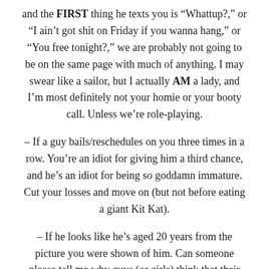and the FIRST thing he texts you is “Whattup?,” or “I ain’t got shit on Friday if you wanna hang,” or “You free tonight?,” we are probably not going to be on the same page with much of anything. I may swear like a sailor, but I actually AM a lady, and I’m most definitely not your homie or your booty call. Unless we’re role-playing.
– If a guy bails/reschedules on you three times in a row. You’re an idiot for giving him a third chance, and he’s an idiot for being so goddamn immature. Cut your losses and move on (but not before eating a giant Kit Kat).
– If he looks like he’s aged 20 years from the picture you were shown of him. Can someone please tell me why guys (or girls) think that their dates aren’t going to notice that their grandparent has replaced them at